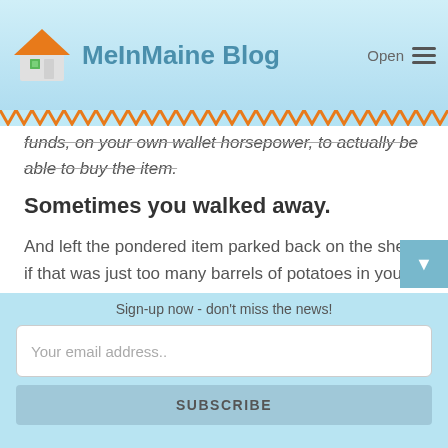MeInMaine Blog
funds, on your own wallet horsepower, to actually be able to buy the item.
Sometimes you walked away.
And left the pondered item parked back on the shelf if that was just too many barrels of potatoes in your opinion. The final conclusion to not let go of the hard earned money that easily if the value was missing. If things just did not add up in your young mind to represent a fair exchange, trade. I am so glad like my three older brothers, all my friends growing up that we all had
Sign-up now - don't miss the news!
Your email address..
SUBSCRIBE